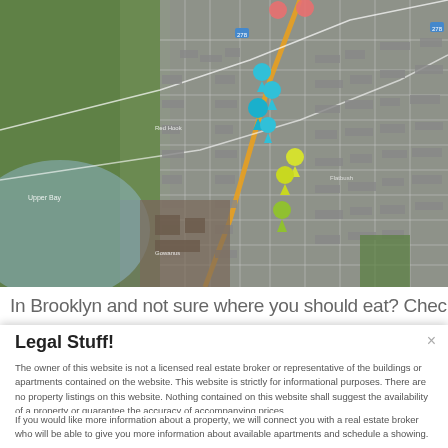[Figure (map): Aerial/satellite map view of Brooklyn area showing street layout, green fields, urban density, and colored map pins (cyan/blue pins in upper center area, yellow/green pins in lower center area). Orange road highlighted. White boundary lines visible.]
In Brooklyn and not sure where you should eat? Check out
Legal Stuff!
The owner of this website is not a licensed real estate broker or representative of the buildings or apartments contained on the website. This website is strictly for informational purposes. There are no property listings on this website. Nothing contained on this website shall suggest the availability of a property or guarantee the accuracy of accompanying prices.
If you would like more information about a property, we will connect you with a real estate broker who will be able to give you more information about available apartments and schedule a showing.
GOT IT